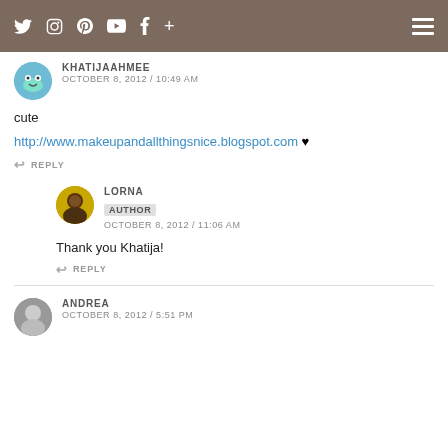Navigation bar with social icons and hamburger menu
KHATIJAAHMEE
OCTOBER 8, 2012 / 10:49 AM
cute
http://www.makeupandallthingsnice.blogspot.com ♥
REPLY
LORNA
AUTHOR
OCTOBER 8, 2012 / 11:06 AM
Thank you Khatija!
REPLY
ANDREA
OCTOBER 8, 2012 / 5:51 PM